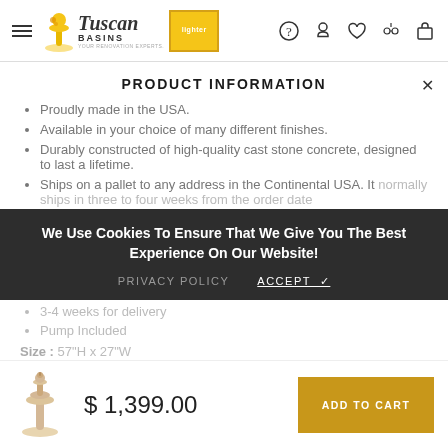Tuscan Basins — navigation header with logo and icons
PRODUCT INFORMATION
Proudly made in the USA.
Available in your choice of many different finishes.
Durably constructed of high-quality cast stone concrete, designed to last a lifetime.
Ships on a pallet to any address in the Continental USA. It normally ships in three to four weeks from the order date the...
3-4 weeks for delivery
Pump Included
Size : 57"H x 27"W
We Use Cookies To Ensure That We Give You The Best Experience On Our Website!
PRIVACY POLICY   ACCEPT ✓
$ 1,399.00
ADD TO CART